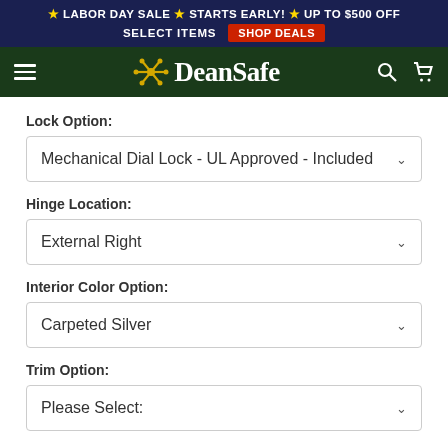★ LABOR DAY SALE ★ STARTS EARLY! ★ UP TO $500 OFF SELECT ITEMS SHOP DEALS
[Figure (logo): DeanSafe logo with navigation bar on dark green background]
Lock Option:
Mechanical Dial Lock - UL Approved - Included
Hinge Location:
External Right
Interior Color Option:
Carpeted Silver
Trim Option:
Please Select: